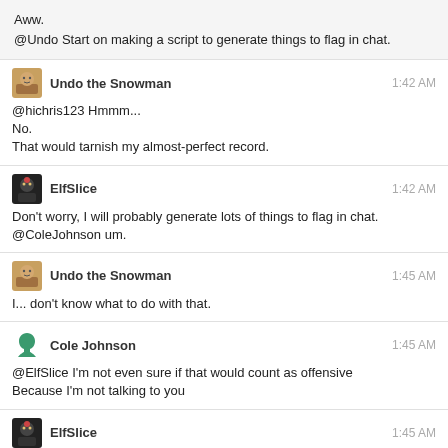Aww.
@Undo Start on making a script to generate things to flag in chat.
Undo the Snowman  1:42 AM
@hichris123 Hmmm...
No.
That would tarnish my almost-perfect record.
ElfSlice  1:42 AM
Don't worry, I will probably generate lots of things to flag in chat.
@ColeJohnson um.
Undo the Snowman  1:45 AM
I... don't know what to do with that.
Cole Johnson  1:45 AM
@ElfSlice I'm not even sure if that would count as offensive
Because I'm not talking to you
ElfSlice  1:45 AM
@ColeJohnson I dunno, calling people 'fat idiots' is pretty bad.
Even I don't do that
hichris123  1:45 AM
It's offensive to people.